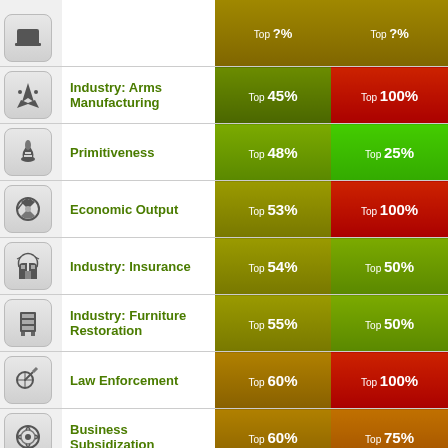| Icon | Category | Rank Col 1 | Rank Col 2 |
| --- | --- | --- | --- |
| [partial row] |  | Top ?% | Top ?% |
| Arms icon | Industry: Arms Manufacturing | Top 45% | Top 100% |
| Fire icon | Primitiveness | Top 48% | Top 25% |
| Gear icon | Economic Output | Top 53% | Top 100% |
| Insurance icon | Industry: Insurance | Top 54% | Top 50% |
| Furniture icon | Industry: Furniture Restoration | Top 55% | Top 50% |
| Scales icon | Law Enforcement | Top 60% | Top 100% |
| Cog icon | Business Subsidization | Top 60% | Top 75% |
| Mining icon | Industry: Mining | Top 60% | Top 100% |
| Tractor icon | Sector: Agriculture | Top 63% | Top 75% |
| Tree icon | Industry: Timber Woodchipping | Top 63% | Top 50% |